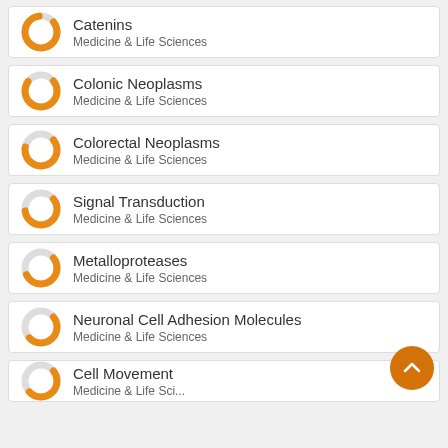Catenins
Medicine & Life Sciences
Colonic Neoplasms
Medicine & Life Sciences
Colorectal Neoplasms
Medicine & Life Sciences
Signal Transduction
Medicine & Life Sciences
Metalloproteases
Medicine & Life Sciences
Neuronal Cell Adhesion Molecules
Medicine & Life Sciences
Cell Movement
Medicine & Life Sciences